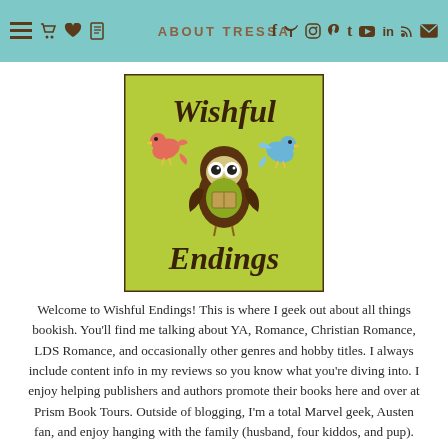ABOUT TRESSA
[Figure (logo): Wishful Endings logo: yellow-green square with a cute cartoon owl holding a book, flanked by a red bird and a blue bird, with 'Wishful' in cursive above and 'Endings' in cursive below.]
Welcome to Wishful Endings! This is where I geek out about all things bookish. You'll find me talking about YA, Romance, Christian Romance, LDS Romance, and occasionally other genres and hobby titles. I always include content info in my reviews so you know what you're diving into. I enjoy helping publishers and authors promote their books here and over at Prism Book Tours. Outside of blogging, I'm a total Marvel geek, Austen fan, and enjoy hanging with the family (husband, four kiddos, and pup).